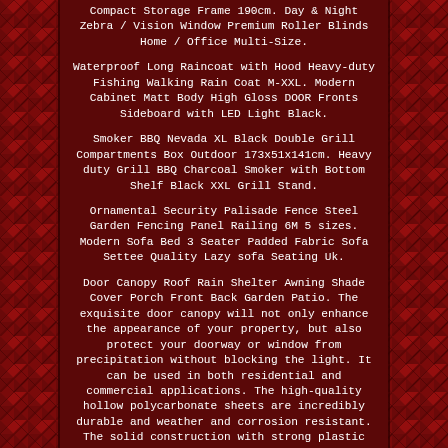Compact Storage Frame 190cm. Day & Night Zebra / Vision Window Premium Roller Blinds Home / Office Multi-Size.
Waterproof Long Raincoat with Hood Heavy-duty Fishing Walking Rain Coat M-XXL. Modern Cabinet Matt Body High Gloss DOOR Fronts Sideboard with LED Light Black.
Smoker BBQ Nevada XL Black Double Grill Compartments Box Outdoor 173x51x141cm. Heavy duty Grill BBQ Charcoal Smoker with Bottom Shelf Black XXL Grill Stand.
Ornamental Security Palisade Fence Steel Garden Fencing Panel Railing 6M 5 sizes. Modern Sofa Bed 3 Seater Padded Fabric Sofa Settee Quality Lazy sofa Seating Uk.
Door Canopy Roof Rain Shelter Awning Shade Cover Porch Front Back Garden Patio. The exquisite door canopy will not only enhance the appearance of your property, but also protect your doorway or window from precipitation without blocking the light. It can be used in both residential and commercial applications. The high-quality hollow polycarbonate sheets are incredibly durable and weather and corrosion resistant. The solid construction with strong plastic brackets is highly stable.